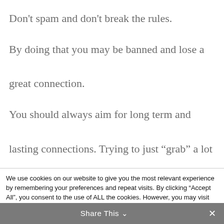Don’t spam and don’t break the rules.
By doing that you may be banned and lose a great connection.
You should always aim for long term and lasting connections. Trying to just “grab” a lot of traffic and run away won’t work and will get
We use cookies on our website to give you the most relevant experience by remembering your preferences and repeat visits. By clicking “Accept All”, you consent to the use of ALL the cookies. However, you may visit "Cookie Settings" to provide a controlled consent.
Share This
Share This ⌄ ×